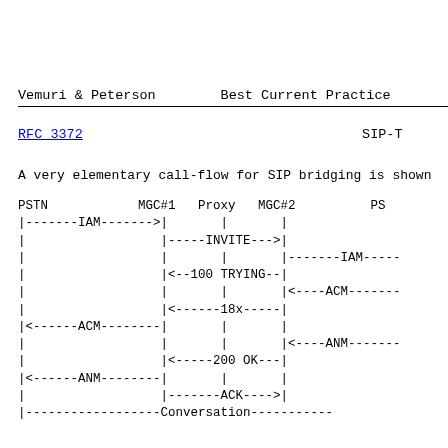Vemuri & Peterson        Best Current Practice
RFC 3372                          SIP-T
A very elementary call-flow for SIP bridging is shown
[Figure (flowchart): SIP-T call flow diagram showing message exchange between PSTN, MGC#1, Proxy, MGC#2, and PS nodes. Messages shown: IAM, INVITE, IAM, 100 TRYING, ACM, 18x, ACM, ANM, 200 OK, ANM, ACK, Conversation.]